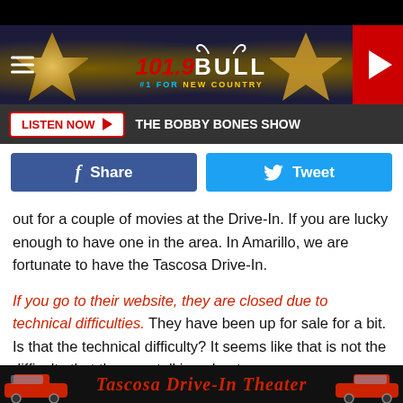[Figure (screenshot): 101.9 The Bull radio station website header banner with gold stars on dark blue background, hamburger menu on left, radio station logo center, red play button on right]
LISTEN NOW ▶  THE BOBBY BONES SHOW
[Figure (infographic): Facebook Share button and Twitter Tweet button in social media row]
out for a couple of movies at the Drive-In. If you are lucky enough to have one in the area. In Amarillo, we are fortunate to have the Tascosa Drive-In.

If you go to their website, they are closed due to technical difficulties. They have been up for sale for a bit. Is that the technical difficulty? It seems like that is not the difficulty that they are talking about.
[Figure (illustration): Bottom banner showing red classic cars and Tascosa Drive-In Theater text on dark background]